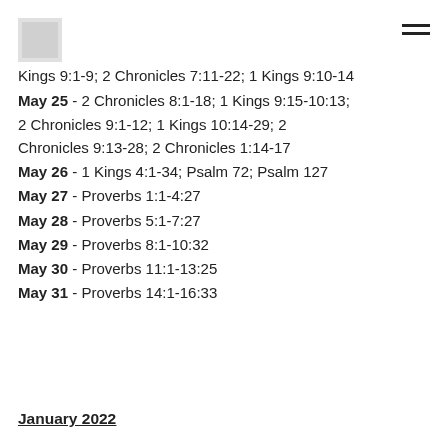Kings 9:1-9; 2 Chronicles 7:11-22; 1 Kings 9:10-14
May 25 - 2 Chronicles 8:1-18; 1 Kings 9:15-10:13; 2 Chronicles 9:1-12; 1 Kings 10:14-29; 2 Chronicles 9:13-28; 2 Chronicles 1:14-17
May 26 - 1 Kings 4:1-34; Psalm 72; Psalm 127
May 27 - Proverbs 1:1-4:27
May 28 - Proverbs 5:1-7:27
May 29 - Proverbs 8:1-10:32
May 30 - Proverbs 11:1-13:25
May 31 - Proverbs 14:1-16:33
January 2022